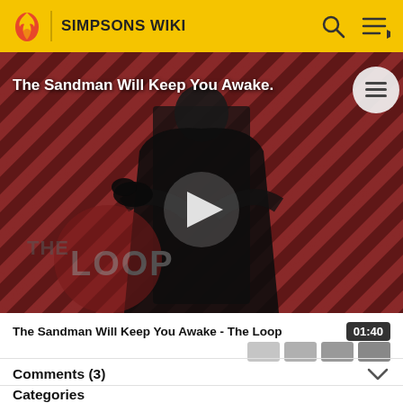SIMPSONS WIKI
[Figure (screenshot): Video thumbnail for 'The Sandman Will Keep You Awake - The Loop' showing a dark figure in black against a red diagonal striped background with THE LOOP logo watermark and a play button overlay]
The Sandman Will Keep You Awake - The Loop   01:40
Comments (3)
Categories